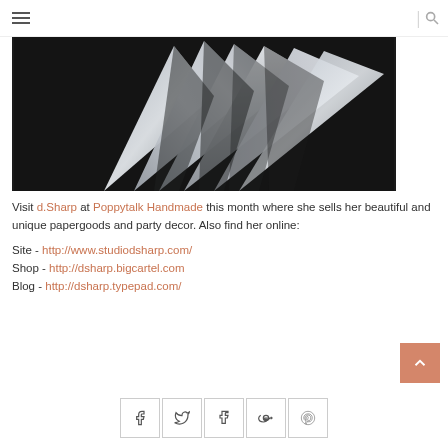Navigation menu and search icon
[Figure (photo): Origami silver paper star or pinwheel shapes arranged on a dark black background, photographed from above. The metallic silver folded paper pieces are arranged in an overlapping fan pattern.]
Visit d.Sharp at Poppytalk Handmade this month where she sells her beautiful and unique papergoods and party decor. Also find her online:
Site - http://www.studiodsharp.com/
Shop - http://dsharp.bigcartel.com
Blog - http://dsharp.typepad.com/